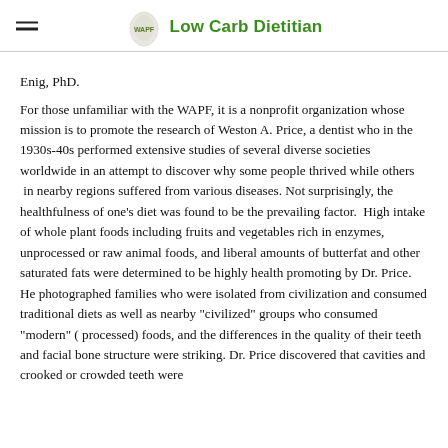Low Carb Dietitian
Enig, PhD.
For those unfamiliar with the WAPF, it is a nonprofit organization whose mission is to promote the research of Weston A. Price, a dentist who in the 1930s-40s performed extensive studies of several diverse societies worldwide in an attempt to discover why some people thrived while others  in nearby regions suffered from various diseases. Not surprisingly, the healthfulness of one's diet was found to be the prevailing factor.  High intake of whole plant foods including fruits and vegetables rich in enzymes, unprocessed or raw animal foods, and liberal amounts of butterfat and other saturated fats were determined to be highly health promoting by Dr. Price. He photographed families who were isolated from civilization and consumed traditional diets as well as nearby "civilized" groups who consumed "modern" ( processed) foods, and the differences in the quality of their teeth and facial bone structure were striking. Dr. Price discovered that cavities and crooked or crowded teeth were